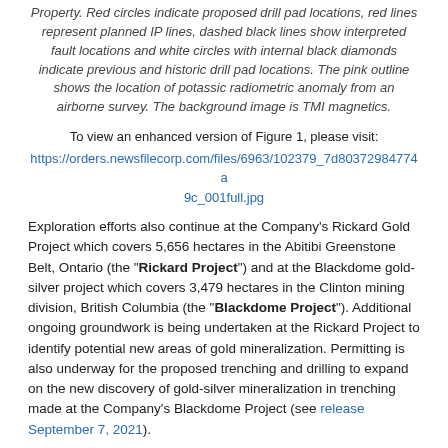Property. Red circles indicate proposed drill pad locations, red lines represent planned IP lines, dashed black lines show interpreted fault locations and white circles with internal black diamonds indicate previous and historic drill pad locations. The pink outline shows the location of potassic radiometric anomaly from an airborne survey. The background image is TMI magnetics.
To view an enhanced version of Figure 1, please visit: https://orders.newsfilecorp.com/files/6963/102379_7d80372984774a9c_001full.jpg
Exploration efforts also continue at the Company's Rickard Gold Project which covers 5,656 hectares in the Abitibi Greenstone Belt, Ontario (the "Rickard Project") and at the Blackdome gold-silver project which covers 3,479 hectares in the Clinton mining division, British Columbia (the "Blackdome Project"). Additional ongoing groundwork is being undertaken at the Rickard Project to identify potential new areas of gold mineralization. Permitting is also underway for the proposed trenching and drilling to expand on the new discovery of gold-silver mineralization in trenching made at the Company's Blackdome Project (see release September 7, 2021).
Disclaimer